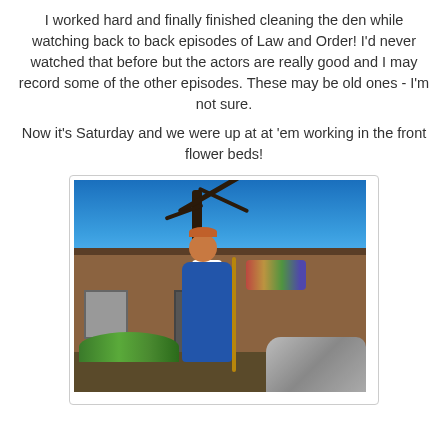I worked hard and finally finished cleaning the den while watching back to back episodes of Law and Order! I'd never watched that before but the actors are really good and I may record some of the other episodes. These may be old ones - I'm not sure.
Now it's Saturday and we were up at at 'em working in the front flower beds!
[Figure (photo): Person wearing blue overalls and white shirt standing in front of a rustic house, holding a shovel, surrounded by flower bed gardening work, rocks, and decorations. Large bare trees visible against a bright blue sky in the background.]